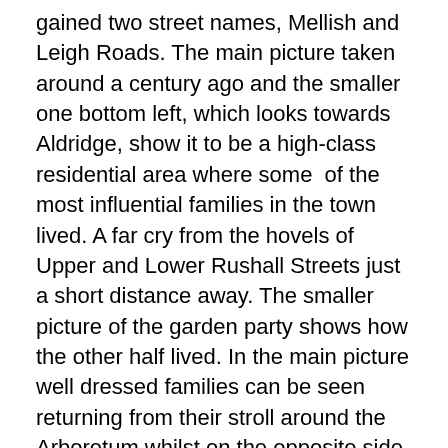gained two street names, Mellish and Leigh Roads. The main picture taken around a century ago and the smaller one bottom left, which looks towards Aldridge, show it to be a high-class residential area where some of the most influential families in the town lived. A far cry from the hovels of Upper and Lower Rushall Streets just a short distance away. The smaller picture of the garden party shows how the other half lived. In the main picture well dressed families can be seen returning from their stroll around the Arboretum whilst on the opposite side of the road the postman and a chap with two small children can't resist posing for the photographer. On the right pictures of St. Michael's Church in Leigh Road are shown. A quite rare and very early picture at the top shows the church before rebuilding in 1856. The postcard at the bottom shows the rebuilt church around 1930. In